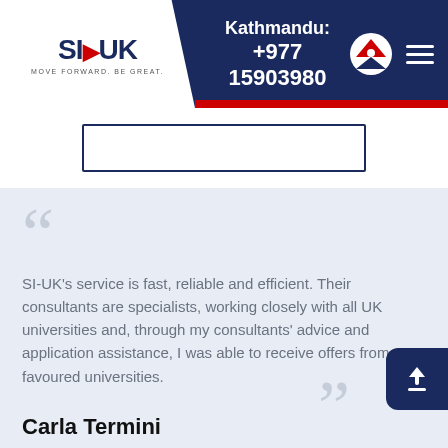SI-UK | Kathmandu: +977 15903980
SI-UK's service is fast, reliable and efficient. Their consultants are specialists, working closely with all UK universities and, through my consultants' advice and application assistance, I was able to receive offers from my favoured universities.
Carla Termini